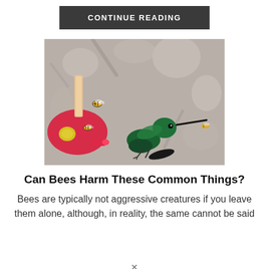CONTINUE READING
[Figure (photo): A green hummingbird perched on a red hummingbird feeder with bees flying around it, blurred branch background]
Can Bees Harm These Common Things?
Bees are typically not aggressive creatures if you leave them alone, although, in reality, the same cannot be said